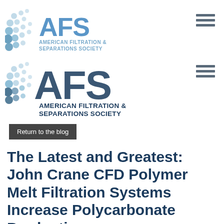[Figure (logo): AFS American Filtration & Separations Society logo — double logo display showing a light blue version at top and a darker navy version below, both with dot-pattern icon on left]
Return to the blog
The Latest and Greatest: John Crane CFD Polymer Melt Filtration Systems Increase Polycarbonate Production